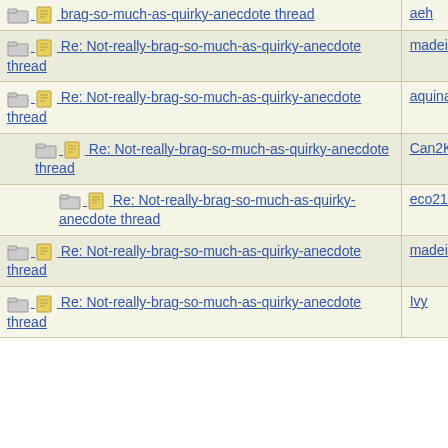| Thread | User |
| --- | --- |
| brag-so-much-as-quirky-anecdote thread | aeh |
| Re: Not-really-brag-so-much-as-quirky-anecdote thread | madeinuk |
| Re: Not-really-brag-so-much-as-quirky-anecdote thread | aquinas |
| Re: Not-really-brag-so-much-as-quirky-anecdote thread | Can2K |
| Re: Not-really-brag-so-much-as-quirky-anecdote thread | eco21268 |
| Re: Not-really-brag-so-much-as-quirky-anecdote thread | madeinuk |
| Re: Not-really-brag-so-much-as-quirky-anecdote thread | Ivy |